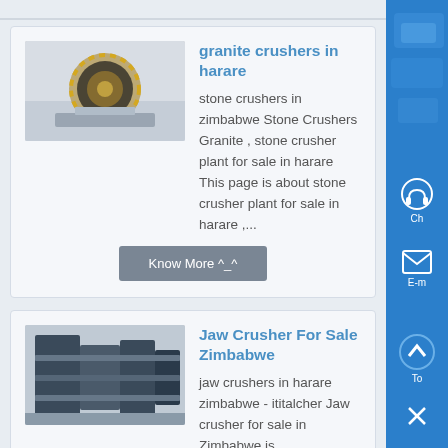[Figure (screenshot): Website listing page showing two product cards for stone/jaw crushers in Zimbabwe, with thumbnail images, titles, descriptions, and 'Know More ^_^' buttons. A blue sidebar is visible on the right.]
granite crushers in harare
stone crushers in zimbabwe Stone Crushers Granite , stone crusher plant for sale in harare This page is about stone crusher plant for sale in harare ,...
Jaw Crusher For Sale Zimbabwe
jaw crushers in harare zimbabwe - ititalcher Jaw crusher for sale in Zimbabwe is manufactured from Shanghai Xuanshi,It is the main mineral gt gt Check price online jaw crushers in harare zimbabwe Solution for ore...